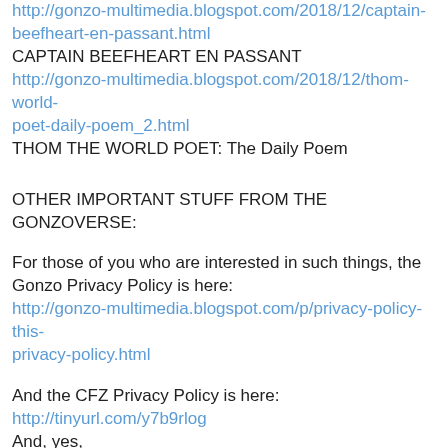http://gonzo-multimedia.blogspot.com/2018/12/captain-beefheart-en-passant.html
CAPTAIN BEEFHEART EN PASSANT
http://gonzo-multimedia.blogspot.com/2018/12/thom-world-poet-daily-poem_2.html
THOM THE WORLD POET: The Daily Poem
OTHER IMPORTANT STUFF FROM THE GONZOVERSE:
For those of you who are interested in such things, the Gonzo Privacy Policy is here:
http://gonzo-multimedia.blogspot.com/p/privacy-policy-this-privacy-policy.html
And the CFZ Privacy Policy is here:
http://tinyurl.com/y7b9rlog
And, yes,
http://forteanzoology.blogspot.com/p/privacy-policy-this-privacy-policy.html
CHECK OUT THE GONZO STORES: